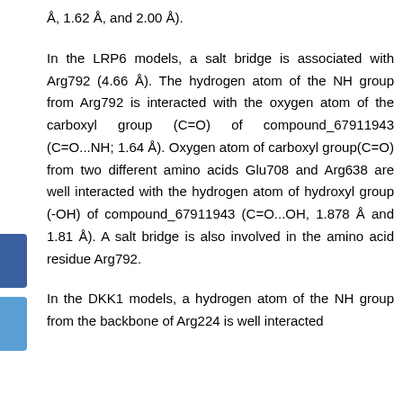Å, 1.62 Å, and 2.00 Å).
In the LRP6 models, a salt bridge is associated with Arg792 (4.66 Å). The hydrogen atom of the NH group from Arg792 is interacted with the oxygen atom of the carboxyl group (C=O) of compound_67911943 (C=O...NH; 1.64 Å). Oxygen atom of carboxyl group(C=O) from two different amino acids Glu708 and Arg638 are well interacted with the hydrogen atom of hydroxyl group (-OH) of compound_67911943 (C=O...OH, 1.878 Å and 1.81 Å). A salt bridge is also involved in the amino acid residue Arg792.
In the DKK1 models, a hydrogen atom of the NH group from the backbone of Arg224 is well interacted